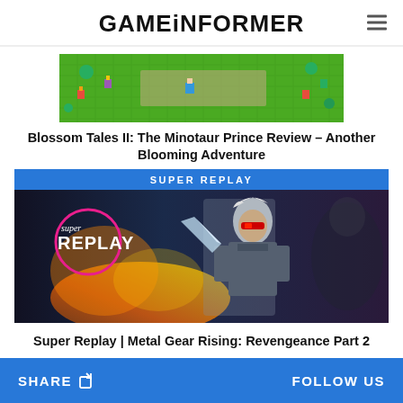GAMEiNFORMER
[Figure (screenshot): Top-down pixel art game screenshot showing green tiled map with characters]
Blossom Tales II: The Minotaur Prince Review – Another Blooming Adventure
[Figure (screenshot): Super Replay video thumbnail showing Metal Gear Rising character Raiden with pink circle Super Replay logo overlay on dark background]
Super Replay | Metal Gear Rising: Revengeance Part 2
SHARE   FOLLOW US